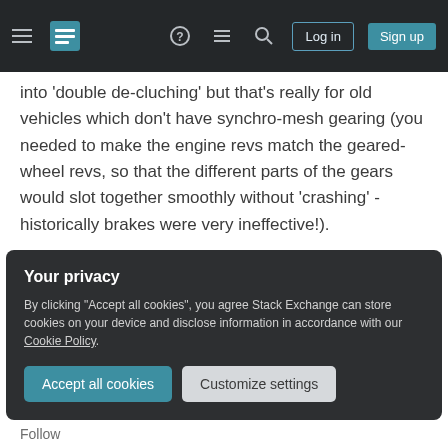Stack Exchange navigation bar with hamburger menu, logo, help, chat, search icons, Log in and Sign up buttons
into 'double de-cluching' but that's really for old vehicles which don't have synchro-mesh gearing (you needed to make the engine revs match the geared-wheel revs, so that the different parts of the gears would slot together smoothly without 'crashing' - historically brakes were very ineffective!).
The key is that you can practice gear shifting without any significant hills, which should give extra confidence that you at least have the mechanics in
Your privacy
By clicking "Accept all cookies", you agree Stack Exchange can store cookies on your device and disclose information in accordance with our Cookie Policy.
Accept all cookies
Customize settings
Follow